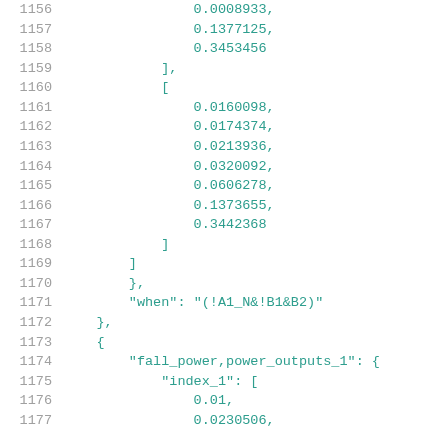Code listing lines 1156-1177 showing JSON-like data structure with numeric arrays and keys
1156: 0.0008933,
1157: 0.1377125,
1158: 0.3453456
1159: ],
1160: [
1161: 0.0160098,
1162: 0.0174374,
1163: 0.0213936,
1164: 0.0320092,
1165: 0.0606278,
1166: 0.1373655,
1167: 0.3442368
1168: ]
1169: ]
1170: },
1171: "when": "(!A1_N&!B1&B2)"
1172: },
1173: {
1174: "fall_power,power_outputs_1": {
1175: "index_1": [
1176: 0.01,
1177: 0.0230506,